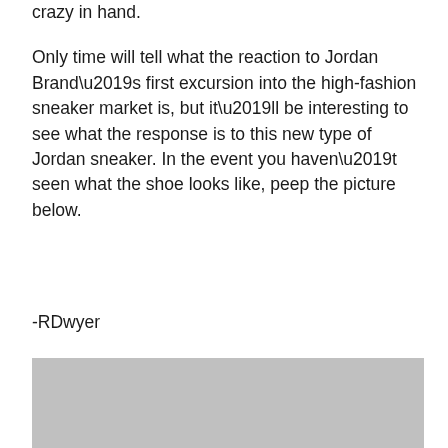crazy in hand.
Only time will tell what the reaction to Jordan Brand’s first excursion into the high-fashion sneaker market is, but it’ll be interesting to see what the response is to this new type of Jordan sneaker. In the event you haven’t seen what the shoe looks like, peep the picture below.
-RDwyer
[Figure (photo): Gray placeholder image of a Jordan sneaker]